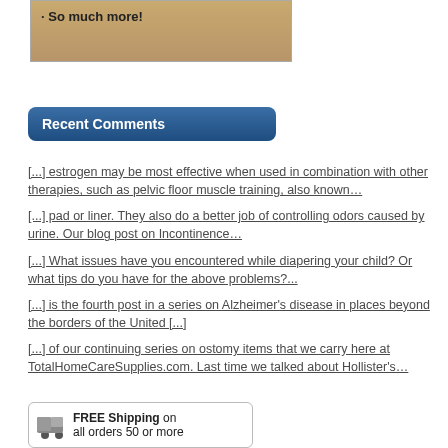[Figure (photo): Partial image with tan/beige background showing text '· So much more!' in bold]
Recent Comments
[...] estrogen may be most effective when used in combination with other therapies, such as pelvic floor muscle training, also known…
[...] pad or liner. They also do a better job of controlling odors caused by urine. Our blog post on Incontinence…
[...] What issues have you encountered while diapering your child? Or what tips do you have for the above problems?...
[...] is the fourth post in a series on Alzheimer's disease in places beyond the borders of the United [...]
[...] of our continuing series on ostomy items that we carry here at TotalHomeCareSupplies.com. Last time we talked about Hollister's…
[Figure (other): Banner ad for Free Shipping on all orders 50 or more]